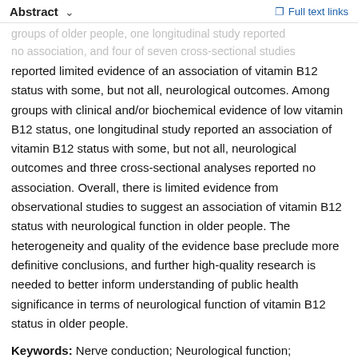Abstract  ∨  Full text links
groups of older people, one longitudinal study reported no association, and four of seven cross-sectional studies reported limited evidence of an association of vitamin B12 status with some, but not all, neurological outcomes. Among groups with clinical and/or biochemical evidence of low vitamin B12 status, one longitudinal study reported an association of vitamin B12 status with some, but not all, neurological outcomes and three cross-sectional analyses reported no association. Overall, there is limited evidence from observational studies to suggest an association of vitamin B12 status with neurological function in older people. The heterogeneity and quality of the evidence base preclude more definitive conclusions, and further high-quality research is needed to better inform understanding of public health significance in terms of neurological function of vitamin B12 status in older people.
Keywords: Nerve conduction; Neurological function;